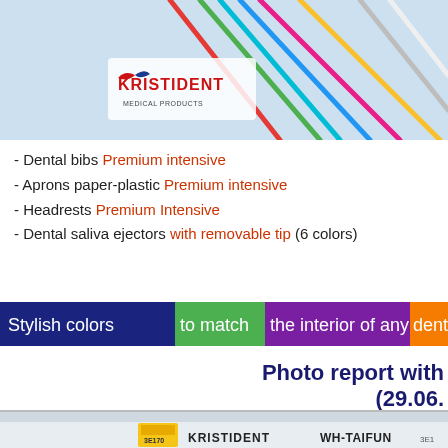[Figure (photo): Top banner photo showing colorful dental saliva ejectors/straws on light blue background, with Kristident Medical Products logo visible on left and right sides]
- Dental bibs Premium intensive
- Aprons paper-plastic Premium intensive
- Headrests Premium Intensive
- Dental saliva ejectors with removable tip (6 colors)
Stylish colors to match the interior of any dental off
Photo report with (29.06.
[Figure (photo): Bottom photo showing exhibition booth with KRISTIDENT and WH-TAIFUN labels, booth number 3E170]